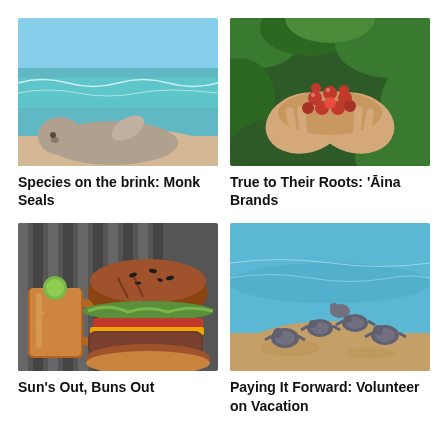[Figure (photo): A monk seal resting on a sandy beach with turquoise ocean waves in the background.]
[Figure (photo): Two hands cupping red coffee cherries with green leaves in the background.]
Species on the brink: Monk Seals
True to Their Roots: 'Āina Brands
[Figure (photo): A burger with toppings next to a copper Moscow mule mug, with a striped background.]
[Figure (photo): Baby sea turtles crawling on sand toward turquoise water.]
Sun's Out, Buns Out
Paying It Forward: Volunteer on Vacation